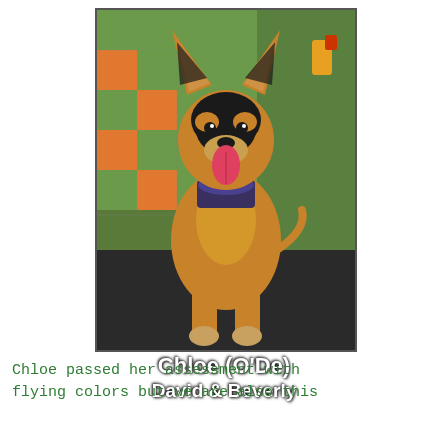[Figure (photo): A German Shepherd puppy sitting and facing the camera, tongue out, wearing a patterned bandana/scarf, in an outdoor kennel area with orange and green chain-link fencing in the background. Text overlay reads 'Chloe (O'De)' and 'David & Beverly'.]
Chloe passed her assessment with flying colors but we are also this